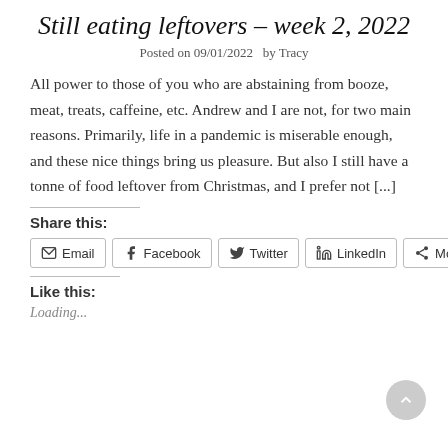Still eating leftovers – week 2, 2022
Posted on 09/01/2022  by Tracy
All power to those of you who are abstaining from booze, meat, treats, caffeine, etc. Andrew and I are not, for two main reasons. Primarily, life in a pandemic is miserable enough, and these nice things bring us pleasure. But also I still have a tonne of food leftover from Christmas, and I prefer not [...]
Share this:
Email | Facebook | Twitter | LinkedIn | More
Like this:
Loading...